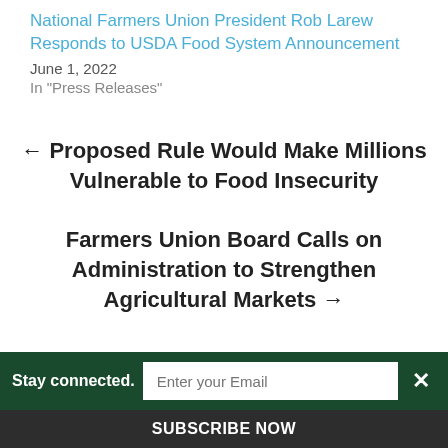National Farmers Union President Rob Larew Responds to USDA Food System Announcement
June 1, 2022
In "Press Releases"
← Proposed Rule Would Make Millions Vulnerable to Food Insecurity
Farmers Union Board Calls on Administration to Strengthen Agricultural Markets →
Stay connected. Enter your Email SUBSCRIBE NOW ×